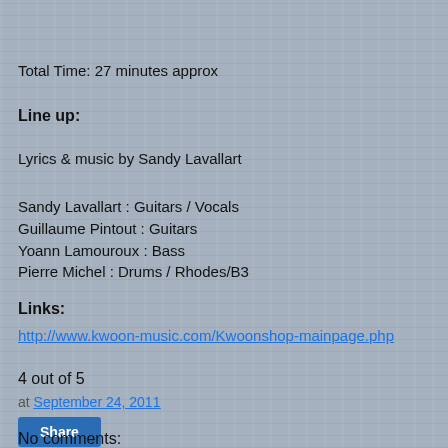Total Time: 27 minutes approx
Line up:
Lyrics & music by Sandy Lavallart
Sandy Lavallart : Guitars / Vocals
Guillaume Pintout : Guitars
Yoann Lamouroux : Bass
Pierre Michel : Drums / Rhodes/B3
Links:
http://www.kwoon-music.com/Kwoonshop-mainpage.php
4 out of 5
at September 24, 2011
Share
No comments: